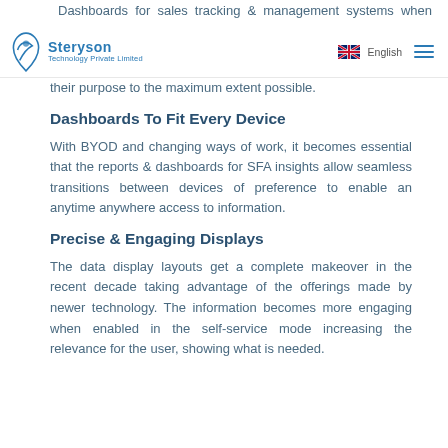Steryson Technology Private Limited | English
Dashboards for sales tracking & management systems when designed using basic guidelines fulfill their purpose to the maximum extent possible.
Dashboards To Fit Every Device
With BYOD and changing ways of work, it becomes essential that the reports & dashboards for SFA insights allow seamless transitions between devices of preference to enable an anytime anywhere access to information.
Precise & Engaging Displays
The data display layouts get a complete makeover in the recent decade taking advantage of the offerings made by newer technology. The information becomes more engaging when enabled in the self-service mode increasing the relevance for the user, showing what is needed.